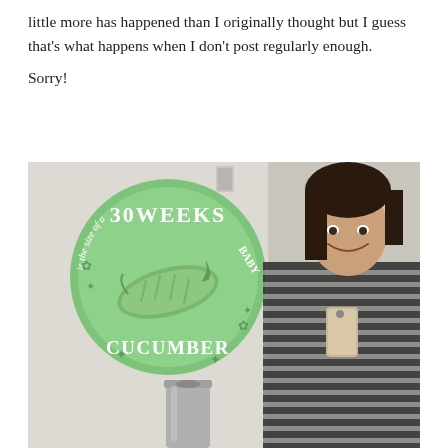little more has happened than I originally thought but I guess that’s what happens when I don’t post regularly enough.
Sorry!
[Figure (photo): A pregnant woman taking a mirror selfie in a bathroom/restroom. She has long dark hair, wearing a striped long-sleeve shirt, olive vest, and a scarf. She is holding a phone. On the wall behind her is a large circular green sticker that reads '30 WEEKS BABY is the size of a CUCUMBER' with an illustration of a cucumber in the center. A cylindrical metal trash can is visible at the lower left.]